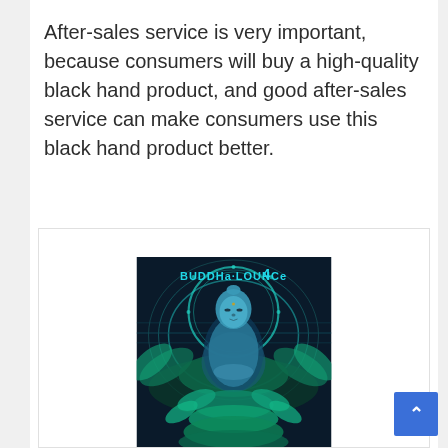After-sales service is very important, because consumers will buy a high-quality black hand product, and good after-sales service can make consumers use this black hand product better.
[Figure (illustration): Album cover for 'Buddha-Lounge 4' showing a meditating Buddha statue with glowing lotus flowers and an ornate circular halo against a dark teal background.]